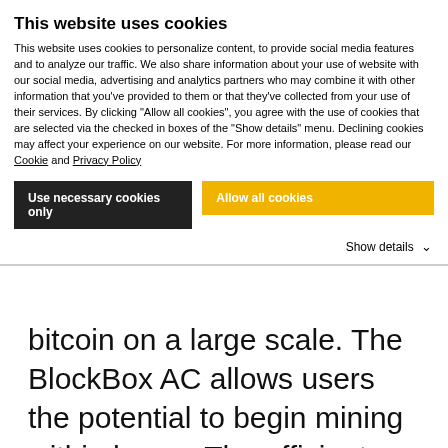This website uses cookies
This website uses cookies to personalize content, to provide social media features and to analyze our traffic. We also share information about your use of website with our social media, advertising and analytics partners who may combine it with other information that you've provided to them or that they've collected from your use of their services. By clicking “Allow all cookies”, you agree with the use of cookies that are selected via the checked in boxes of the “Show details” menu. Declining cookies may affect your experience on our website. For more information, please read our Cookie and Privacy Policy
Use necessary cookies only
Allow all cookies
Show details
bitcoin on a large scale. The BlockBox AC allows users the potential to begin mining within hours. The efficient design and low operating cost of the BlockBox AC makes bitcoin mining more productive and affordable.